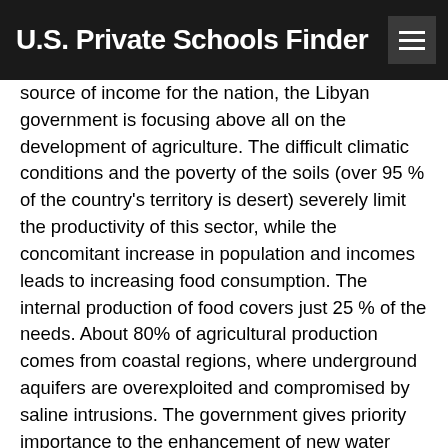U.S. Private Schools Finder
source of income for the nation, the Libyan government is focusing above all on the development of agriculture. The difficult climatic conditions and the poverty of the soils (over 95 % of the country's territory is desert) severely limit the productivity of this sector, while the concomitant increase in population and incomes leads to increasing food consumption. The internal production of food covers just 25 % of the needs. About 80% of agricultural production comes from coastal regions, where underground aquifers are overexploited and compromised by saline intrusions. The government gives priority importance to the enhancement of new water resources, to expand the area under cultivation. To this end, it undertook in 1984 the construction of a pharaonic project, known as the Great artificial river, to convey the waters captured by deep